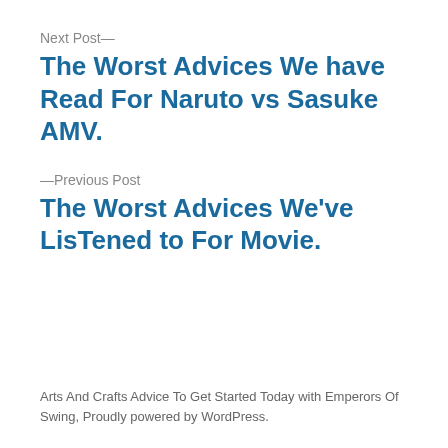Next Post—
The Worst Advices We have Read For Naruto vs Sasuke AMV.
—Previous Post
The Worst Advices We've LisTened to For Movie.
Arts And Crafts Advice To Get Started Today with Emperors Of Swing, Proudly powered by WordPress.